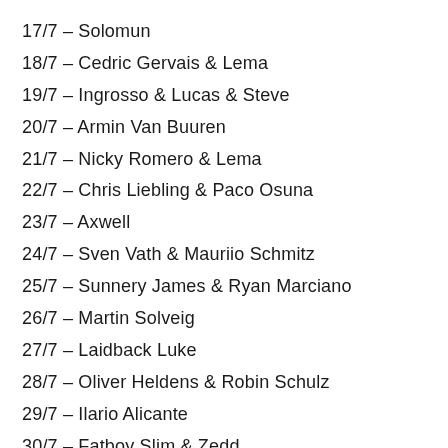17/7 – Solomun
18/7 – Cedric Gervais & Lema
19/7 – Ingrosso & Lucas & Steve
20/7 – Armin Van Buuren
21/7 – Nicky Romero & Lema
22/7 – Chris Liebling & Paco Osuna
23/7 – Axwell
24/7 – Sven Vath & Mauriio Schmitz
25/7 – Sunnery James & Ryan Marciano
26/7 – Martin Solveig
27/7 – Laidback Luke
28/7 – Oliver Heldens & Robin Schulz
29/7 – Ilario Alicante
30/7 – Fatboy Slim & Zedd
31/7 – Loco Diso